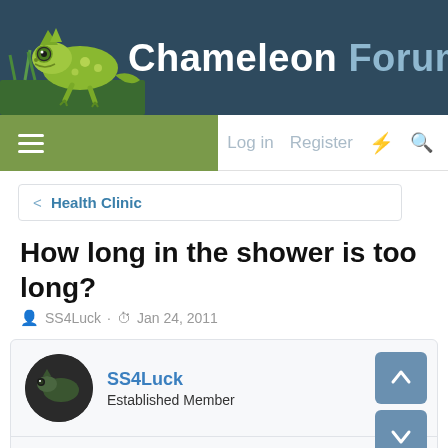[Figure (illustration): Chameleon Forums website header with illustrated chameleon logo on dark blue background and site title 'Chameleon Forums']
Log in  Register
< Health Clinic
How long in the shower is too long?
SS4Luck · Jan 24, 2011
SS4Luck
Established Member
Jan 24, 2011  #1